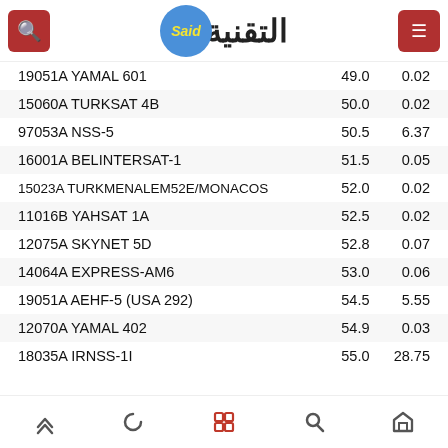Said التقنية
| ID/Name | Val1 | Val2 |
| --- | --- | --- |
| 19051A YAMAL 601 | 49.0 | 0.02 |
| 15060A TURKSAT 4B | 50.0 | 0.02 |
| 97053A NSS-5 | 50.5 | 6.37 |
| 16001A BELINTERSAT-1 | 51.5 | 0.05 |
| 15023A TURKMENALEM52E/MONACOS | 52.0 | 0.02 |
| 11016B YAHSAT 1A | 52.5 | 0.02 |
| 12075A SKYNET 5D | 52.8 | 0.07 |
| 14064A EXPRESS-AM6 | 53.0 | 0.06 |
| 19051A AEHF-5 (USA 292) | 54.5 | 5.55 |
| 12070A YAMAL 402 | 54.9 | 0.03 |
| 18035A IRNSS-1I | 55.0 | 28.75 |
Navigation bar with icons